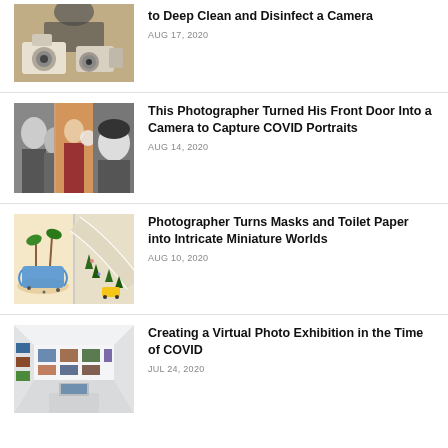[Figure (photo): Two Fujifilm cameras on a wooden surface with a person in background]
to Deep Clean and Disinfect a Camera
AUG 17, 2020
[Figure (photo): Collage of three black-and-white and color portrait photos of people]
This Photographer Turned His Front Door Into a Camera to Capture COVID Portraits
AUG 14, 2020
[Figure (photo): Two miniature world scenes made with masks and toilet paper]
Photographer Turns Masks and Toilet Paper into Intricate Miniature Worlds
AUG 10, 2020
[Figure (photo): Virtual white gallery with artwork on walls showing a photo exhibition]
Creating a Virtual Photo Exhibition in the Time of COVID
JUL 24, 2020